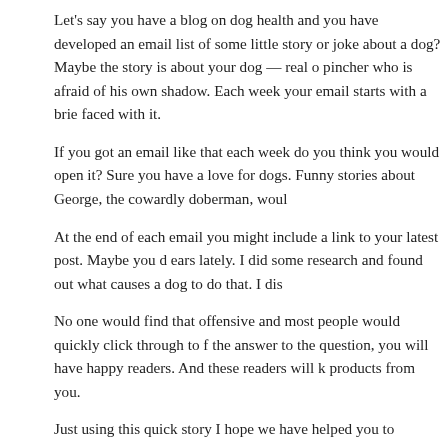Let's say you have a blog on dog health and you have developed an email list of some little story or joke about a dog? Maybe the story is about your dog — real or pincher who is afraid of his own shadow. Each week your email starts with a brie faced with it.
If you got an email like that each week do you think you would open it? Sure you have a love for dogs. Funny stories about George, the cowardly doberman, woul
At the end of each email you might include a link to your latest post. Maybe you d ears lately. I did some research and found out what causes a dog to do that. I dis
No one would find that offensive and most people would quickly click through to f the answer to the question, you will have happy readers. And these readers will k products from you.
Just using this quick story I hope we have helped you to understand better how t tips to work right away?
How To Get Started With Internet Marketing Ski
Friday, December 18th, 2015 at 5:37 pm
How To Get Started With Internet Marketing Skills